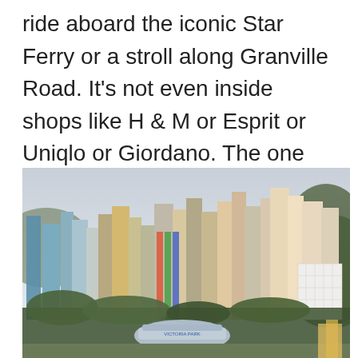ride aboard the iconic Star Ferry or a stroll along Granville Road. It's not even inside shops like H & M or Esprit or Uniqlo or Giordano. The one site I frequent almost daily?
[Figure (photo): Aerial view of a dense Hong Kong cityscape with numerous high-rise residential and commercial towers, green hills in the background, overcast sky, and a stadium or arena visible at the bottom center.]